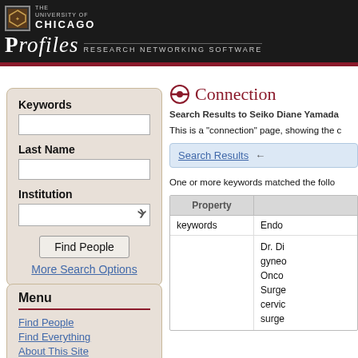THE UNIVERSITY OF CHICAGO — PROFILES Research Networking Software
Keywords
Last Name
Institution
Find People
More Search Options
Menu
Find People
Find Everything
About This Site
Connection
Search Results to Seiko Diane Yamada
This is a "connection" page, showing the c
Search Results ←
One or more keywords matched the follo
| Property |  |
| --- | --- |
| keywords | Endo |
|  | Dr. Di gyneo Onco Surge cervic surge |